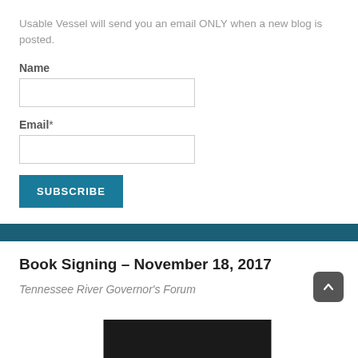Usable Vessel will send you an email ONLY when a new blog is posted.
Name
Email*
SUBSCRIBE
Book Signing – November 18, 2017
Tennessee River Governor's Forum
[Figure (photo): Dark photo partially visible at bottom of page]